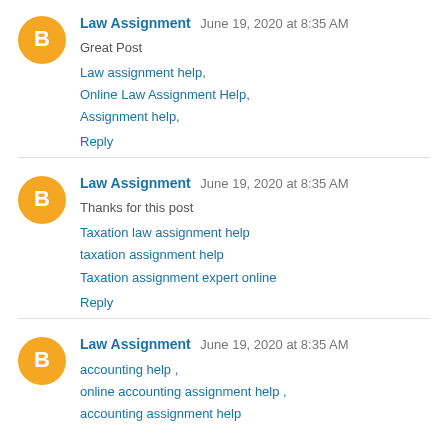Law Assignment  June 19, 2020 at 8:35 AM
Great Post
Law assignment help,
Online Law Assignment Help,
Assignment help,
Reply
Law Assignment  June 19, 2020 at 8:35 AM
Thanks for this post
Taxation law assignment help
taxation assignment help
Taxation assignment expert online
Reply
Law Assignment  June 19, 2020 at 8:35 AM
accounting help ,
online accounting assignment help ,
accounting assignment help